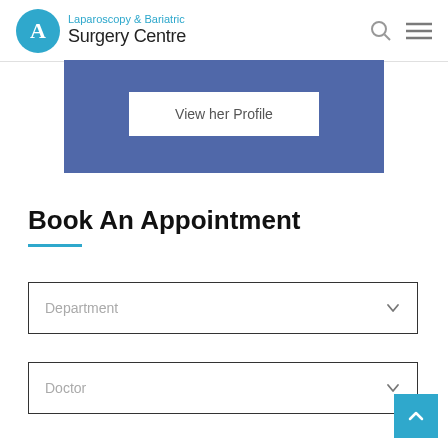Laparoscopy & Bariatric Surgery Centre
[Figure (screenshot): Blue banner with 'View her Profile' button]
Book An Appointment
Department (dropdown selector)
Doctor (dropdown selector)